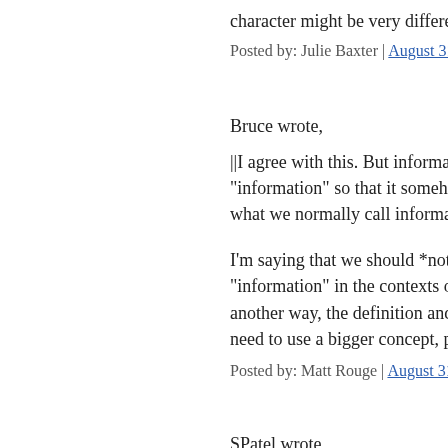character might be very different today. It wa
Posted by: Julie Baxter | August 31, 2015 at 06:10 AM
Bruce wrote,
||I agree with this. But information is not aliv "information" so that it somehow becomes a what we normally call information. So why t
I'm saying that we should *not* use the word "information" in the contexts of these discus another way, the definition and connotation o need to use a bigger concept, perhaps that of
Posted by: Matt Rouge | August 31, 2015 at 07:19 AM
SPatel wrote,
||Great stuff Matt - have you seen the Monad
No, what's that? I'm interested.
||On #78, I'm not sure how the holographic u is this is typically held to mean Leibniz thou between the ontological principle and the